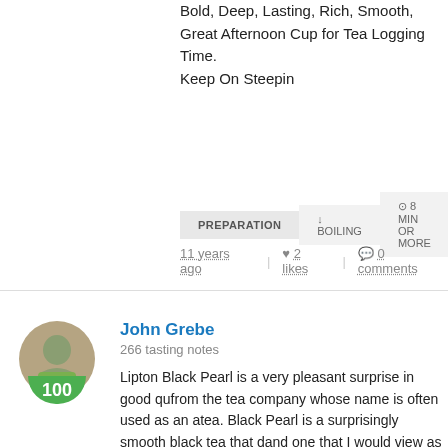Bold, Deep, Lasting, Rich, Smooth, Great Afternoon Cup for Tea Logging Time. Keep On Steepin
PREPARATION  ↓ BOILING  ⊙ 8 MIN OR MORE
11 years ago  |  ♥ 2 likes  |  ● 0 comments
John Grebe
266 tasting notes
Lipton Black Pearl is a very pleasant surprise in good qu... from the tea company whose name is often used as an a... tea. Black Pearl is a surprisingly smooth black tea that d... and one that I would view as being worth buying again. quality black tea but the fact remains for its price range think it would be hard to beat.